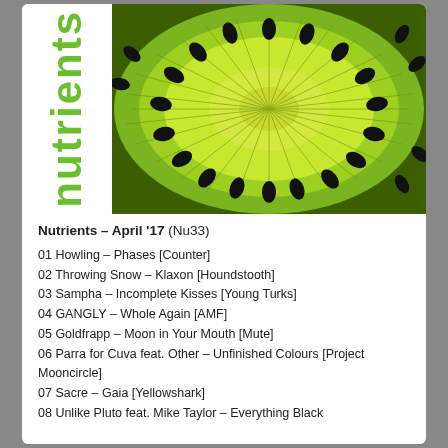[Figure (photo): Kiwi fruit cross-section macro photo with green flesh and black seeds radiating from center on right side; vertical green 'nutrients' logo text on left side]
Nutrients – April '17 (Nu33)
01 Howling – Phases [Counter]
02 Throwing Snow – Klaxon [Houndstooth]
03 Sampha – Incomplete Kisses [Young Turks]
04 GANGLY – Whole Again [AMF]
05 Goldfrapp – Moon in Your Mouth [Mute]
06 Parra for Cuva feat. Other – Unfinished Colours [Project Mooncircle]
07 Sacre – Gaia [Yellowshark]
08 Unlike Pluto feat. Mike Taylor – Everything Black